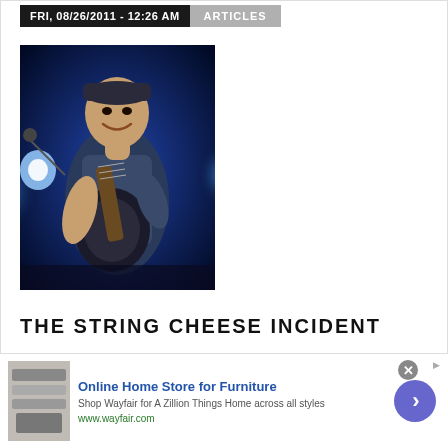FRI, 08/26/2011 - 12:26 AM   ARTICLES
[Figure (photo): A musician playing guitar on stage under blue stage lighting, wearing a cap and sleeveless shirt, smiling.]
THE STRING CHEESE INCIDENT
[Figure (infographic): Advertisement banner: Online Home Store for Furniture - Shop Wayfair for A Zillion Things Home across all styles. www.wayfair.com. With product image and arrow button.]